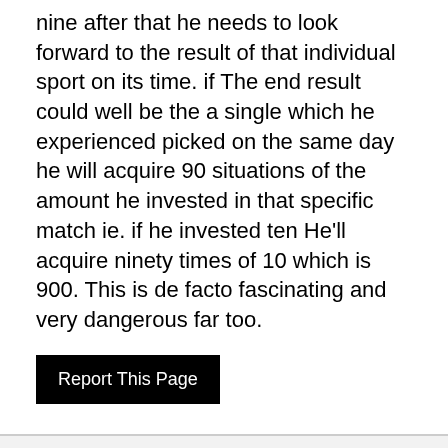nine after that he needs to look forward to the result of that individual sport on its time. if The end result could well be the a single which he experienced picked on the same day he will acquire 90 situations of the amount he invested in that specific match ie. if he invested ten He'll acquire ninety times of 10 which is 900. This is de facto fascinating and very dangerous far too.
Report This Page
Your Name
Email